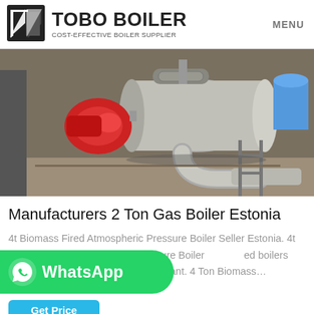TOBO BOILER — COST-EFFECTIVE BOILER SUPPLIER | MENU
[Figure (photo): Industrial gas boiler with red burner, large silver cylindrical body, and stainless steel exhaust pipe bends, shown in a factory/warehouse setting. A blue cylindrical tank is visible on the right.]
Manufacturers 2 Ton Gas Boiler Estonia
4t Biomass Fired Atmospheric Pressure Boiler Seller Estonia. 4t Biomass Fired Atmospheric Pressure Boiler ...ed boilers can be used for steam and power plant. 4 Ton Biomass...
[Figure (logo): WhatsApp button — green rounded rectangle with WhatsApp logo icon and text 'WhatsApp']
Get Price